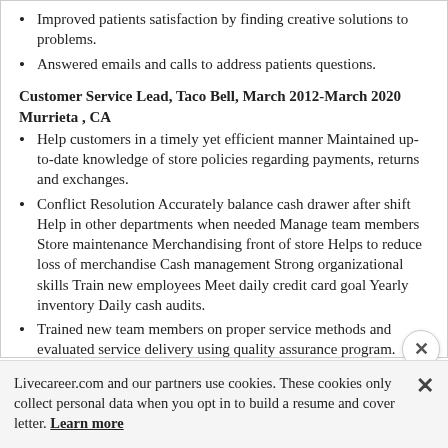Improved patients satisfaction by finding creative solutions to problems.
Answered emails and calls to address patients questions.
Customer Service Lead, Taco Bell, March 2012-March 2020 Murrieta , CA
Help customers in a timely yet efficient manner Maintained up-to-date knowledge of store policies regarding payments, returns and exchanges.
Conflict Resolution Accurately balance cash drawer after shift Help in other departments when needed Manage team members Store maintenance Merchandising front of store Helps to reduce loss of merchandise Cash management Strong organizational skills Train new employees Meet daily credit card goal Yearly inventory Daily cash audits.
Trained new team members on proper service methods and evaluated service delivery using quality assurance program.
Livecareer.com and our partners use cookies. These cookies only collect personal data when you opt in to build a resume and cover letter. Learn more